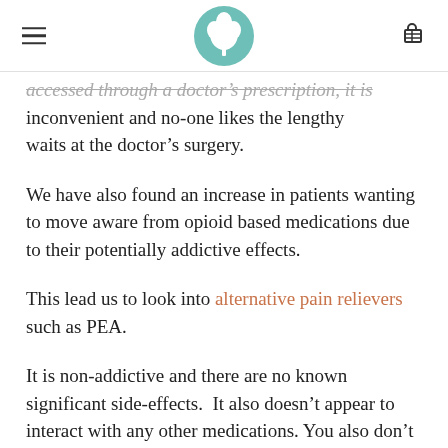[Logo: tree icon] [Hamburger menu] [Cart icon]
accessed through a doctor's prescription, it is inconvenient and no-one likes the lengthy waits at the doctor's surgery.
We have also found an increase in patients wanting to move aware from opioid based medications due to their potentially addictive effects.
This lead us to look into alternative pain relievers such as PEA.
It is non-addictive and there are no known significant side-effects.  It also doesn't appear to interact with any other medications. You also don't require a prescription to purchase